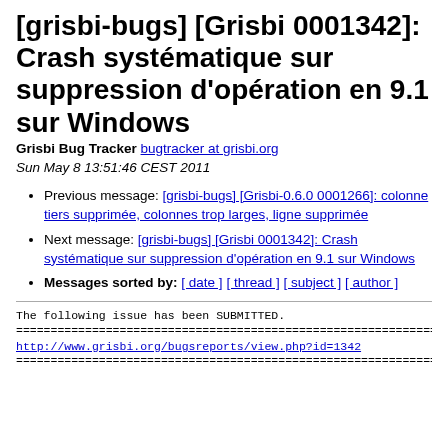[grisbi-bugs] [Grisbi 0001342]: Crash systématique sur suppression d'opération en 9.1 sur Windows
Grisbi Bug Tracker bugtracker at grisbi.org
Sun May 8 13:51:46 CEST 2011
Previous message: [grisbi-bugs] [Grisbi-0.6.0 0001266]: colonne tiers supprimée, colonnes trop larges, ligne supprimée
Next message: [grisbi-bugs] [Grisbi 0001342]: Crash systématique sur suppression d'opération en 9.1 sur Windows
Messages sorted by: [ date ] [ thread ] [ subject ] [ author ]
The following issue has been SUBMITTED.
============================
http://www.grisbi.org/bugsreports/view.php?id=1342
============================